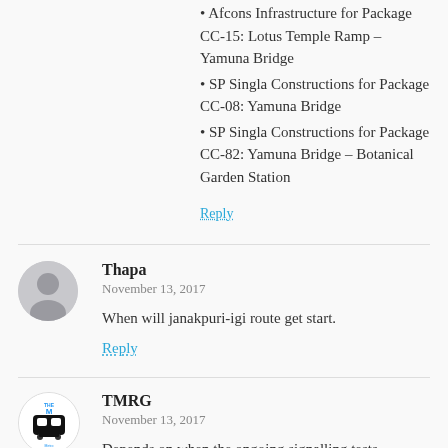Afcons Infrastructure for Package CC-15: Lotus Temple Ramp – Yamuna Bridge
SP Singla Constructions for Package CC-08: Yamuna Bridge
SP Singla Constructions for Package CC-82: Yamuna Bridge – Botanical Garden Station
Reply
Thapa
November 13, 2017
When will janakpuri-igi route get start.
Reply
TMRG
November 13, 2017
Depends on when the ongoing signalling tests followed by CMRS inspection are completed. Follow along to find out.
Reply